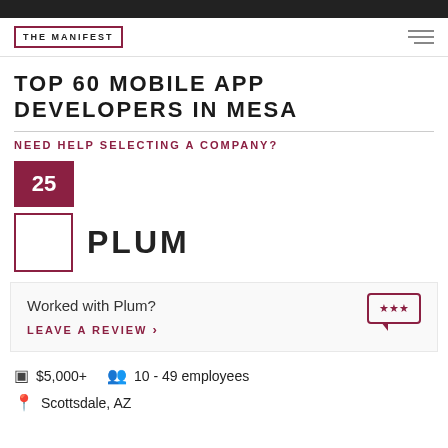THE MANIFEST
TOP 60 MOBILE APP DEVELOPERS IN MESA
NEED HELP SELECTING A COMPANY?
25
PLUM
Worked with Plum?
LEAVE A REVIEW >
$5,000+
10 - 49 employees
Scottsdale, AZ